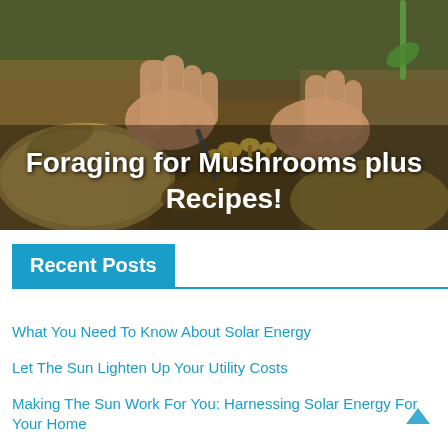[Figure (photo): Hands foraging yellow mushrooms from forest floor with leaves and soil, with bold white text overlay reading 'Foraging for Mushrooms plus Recipes!']
Recent Posts
What You Need To Know About Solar Energy
Let The Sun Lighten Up Your Utility Costs
Making The Sun Work For You: Harnessing Solar Energy For Your Home